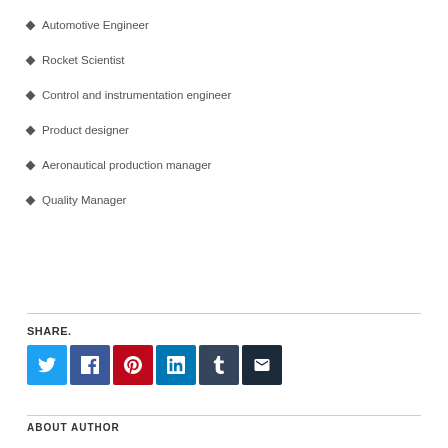Automotive Engineer
Rocket Scientist
Control and instrumentation engineer
Product designer
Aeronautical production manager
Quality Manager
SHARE.
ABOUT AUTHOR